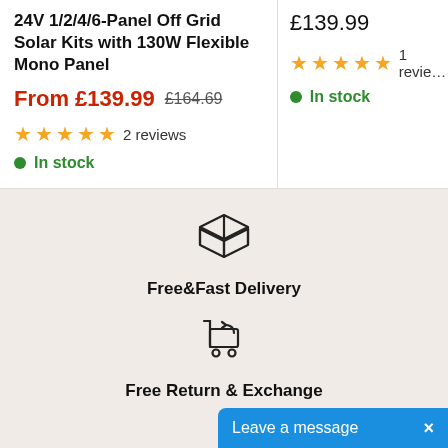24V 1/2/4/6-Panel Off Grid Solar Kits with 130W Flexible Mono Panel
From £139.99  £164.69
2 reviews
In stock
£139.99
1 reviews
In stock
[Figure (illustration): Box/package icon representing Free & Fast Delivery]
Free&Fast Delivery
[Figure (illustration): Shopping cart with return arrow icon representing Free Return & Exchange]
Free Return & Exchange
Leave a message  ×